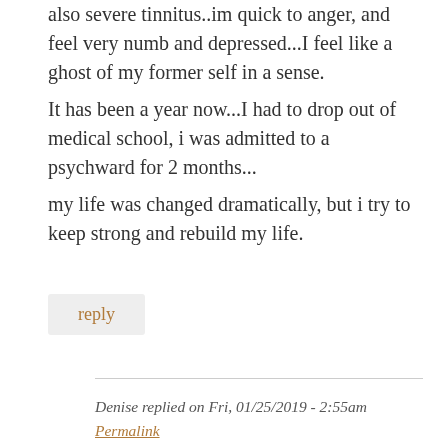also severe tinnitus..im quick to anger, and feel very numb and depressed...I feel like a ghost of my former self in a sense.
It has been a year now...I had to drop out of medical school, i was admitted to a psychward for 2 months...
my life was changed dramatically, but i try to keep strong and rebuild my life.
reply
Denise replied on Fri, 01/25/2019 - 2:55am
Permalink
Wow I thought I was the only one . I had a bad childhood have high blood presure ' I am now in